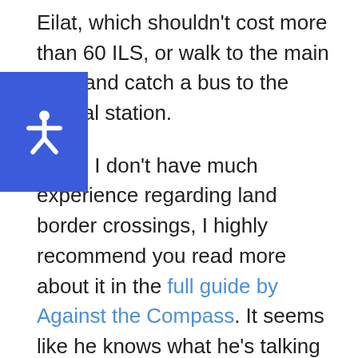Eilat, which shouldn't cost more than 60 ILS, or walk to the main road and catch a bus to the central station.
Since I don't have much experience regarding land border crossings, I highly recommend you read more about it in the full guide by Against the Compass. It seems like he knows what he's talking about.